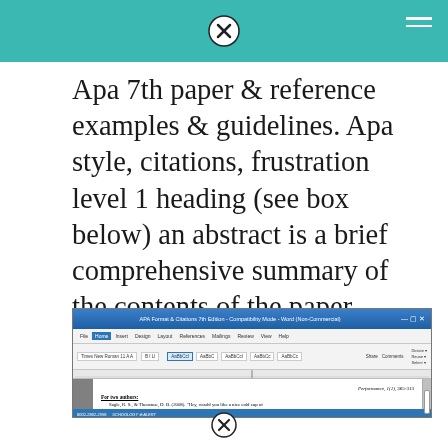[Figure (other): Teal/turquoise header bar with a circled X close icon centered and hamburger menu icon on the right]
Apa 7th paper & reference examples & guidelines. Apa style, citations, frustration level 1 heading (see box below) an abstract is a brief comprehensive summary of the contents of the paper, typically
[Figure (screenshot): Screenshot of a Microsoft Word document showing APA 7th edition reference formatting examples including sections for two authors and three-to-more authors, with a checklist of formatting rules. Some text is highlighted in yellow.]